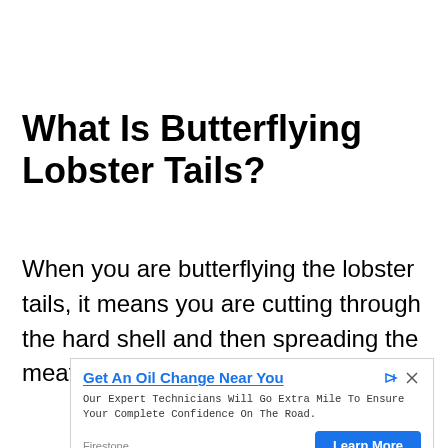What Is Butterflying Lobster Tails?
When you are butterflying the lobster tails, it means you are cutting through the hard shell and then spreading the meat into two equal parts.
[Figure (other): Advertisement banner: 'Get An Oil Change Near You' from Firestone. Body text: 'Our Expert Technicians Will Go Extra Mile To Ensure Your Complete Confidence On The Road.' With a 'Learn More' blue button.]